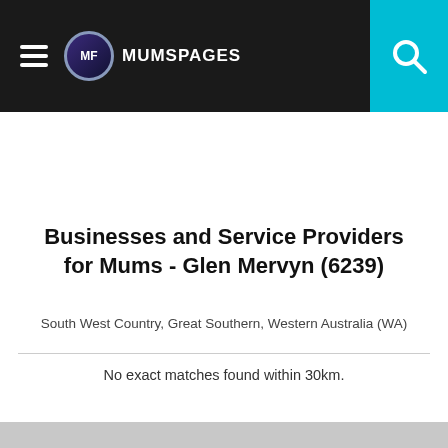MumsPages
Businesses and Service Providers for Mums - Glen Mervyn (6239)
South West Country, Great Southern, Western Australia (WA)
No exact matches found within 30km.